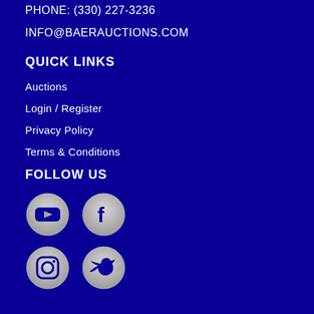PHONE: (330) 227-3236
INFO@BAERAUCTIONS.COM
QUICK LINKS
Auctions
Login / Register
Privacy Policy
Terms & Conditions
FOLLOW US
[Figure (logo): YouTube icon circle (silver/grey)]
[Figure (logo): Facebook icon circle (silver/grey)]
[Figure (logo): Instagram icon circle (silver/grey)]
[Figure (logo): Twitter icon circle (silver/grey)]